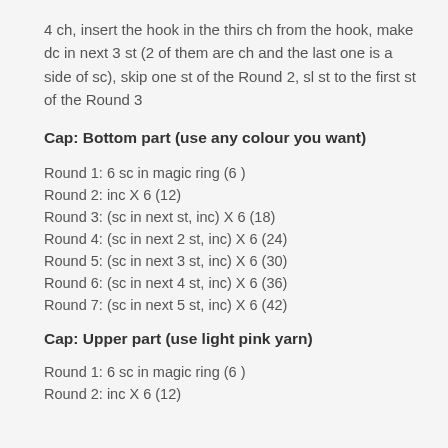4 ch, insert the hook in the thirs ch from the hook, make dc in next 3 st (2 of them are ch and the last one is a side of sc), skip one st of the Round 2, sl st to the first st of the Round 3
Cap: Bottom part (use any colour you want)
Round 1: 6 sc in magic ring (6 )
Round 2: inc X 6 (12)
Round 3: (sc in next st, inc) X 6 (18)
Round 4: (sc in next 2 st, inc) X 6 (24)
Round 5: (sc in next 3 st, inc) X 6 (30)
Round 6: (sc in next 4 st, inc) X 6 (36)
Round 7: (sc in next 5 st, inc) X 6 (42)
Cap: Upper part (use light pink yarn)
Round 1: 6 sc in magic ring (6 )
Round 2: inc X 6 (12)